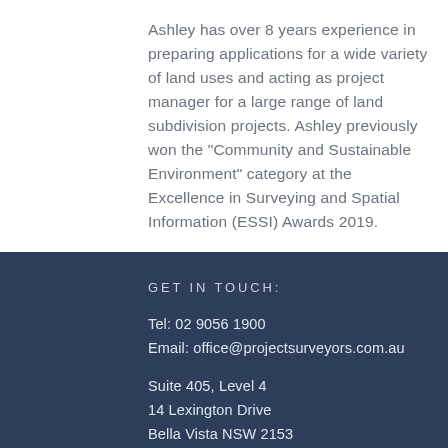Ashley has over 8 years experience in preparing applications for a wide variety of land uses and acting as project manager for a large range of land subdivision projects. Ashley previously won the "Community and Sustainable Environment" category at the Excellence in Surveying and Spatial Information (ESSI) Awards 2019.
GET IN TOUCH:
Tel: 02 9056 1900
Email: office@projectsurveyors.com.au
Suite 405, Level 4
14 Lexington Drive
Bella Vista NSW 2153
CONTACT US: